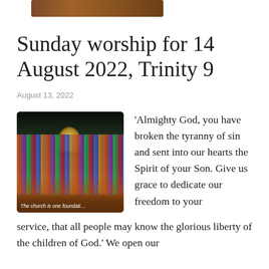[Figure (photo): Decorative header image bar with brown/earth tones, likely a church or banner image]
Sunday worship for 14 August 2022, Trinity 9
August 13, 2022
[Figure (photo): Photograph of a large congregation gathered inside a church, many women wearing colorful saris. Caption reads 'The church is one foundation']
'Almighty God, you have broken the tyranny of sin and sent into our hearts the Spirit of your Son. Give us grace to dedicate our freedom to your service, that all people may know the glorious liberty of the children of God.' We open our